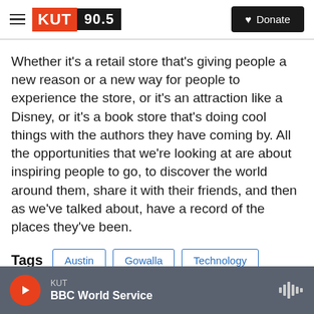KUT 90.5 | Donate
Whether it's a retail store that's giving people a new reason or a new way for people to experience the store, or it's an attraction like a Disney, or it's a book store that's doing cool things with the authors they have coming by. All the opportunities that we're looking at are about inspiring people to go, to discover the world around them, share it with their friends, and then as we've talked about, have a record of the places they've been.
Tags  Austin  Gowalla  Technology
KUT | BBC World Service